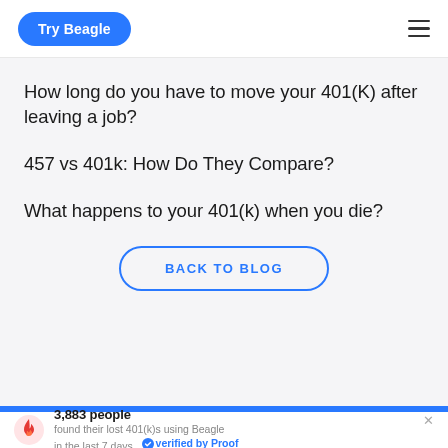Try Beagle
How long do you have to move your 401(K) after leaving a job?
457 vs 401k: How Do They Compare?
What happens to your 401(k) when you die?
BACK TO BLOG
3,883 people found their lost 401(k)s using Beagle in the last 7 days  verified by Proof